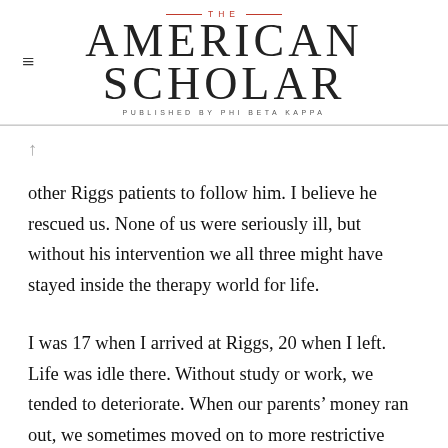THE AMERICAN SCHOLAR — PUBLISHED BY PHI BETA KAPPA
other Riggs patients to follow him. I believe he rescued us. None of us were seriously ill, but without his intervention we all three might have stayed inside the therapy world for life.
I was 17 when I arrived at Riggs, 20 when I left. Life was idle there. Without study or work, we tended to deteriorate. When our parents' money ran out, we sometimes moved on to more restrictive institutions. Or worse, we became long-term outpatients, chronic cases who padded back and forth between furnished rooms